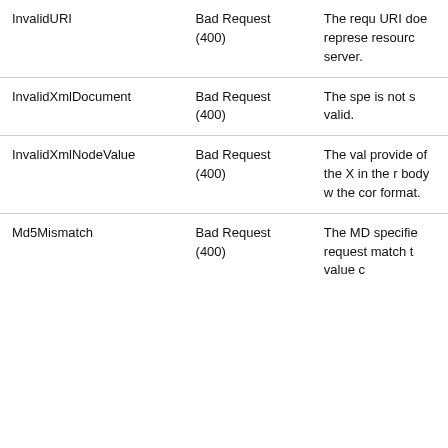| Error Code | HTTP Status Code | Description |
| --- | --- | --- |
| InvalidURI | Bad Request (400) | The request URI does not represent a resource on the server. |
| InvalidXmlDocument | Bad Request (400) | The specified XML is not syntactically valid. |
| InvalidXmlNodeValue | Bad Request (400) | The value provided for one of the XML nodes in the request body was not in the correct format. |
| Md5Mismatch | Bad Request (400) | The MD5 value specified in the request did not match the value calculated by the server. |